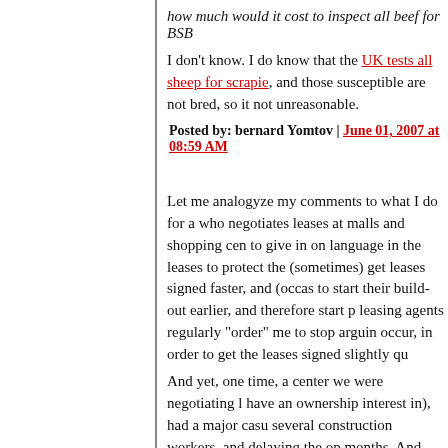how much would it cost to inspect all beef for BSB
I don't know. I do know that the UK tests all sheep for scrapie, and those susceptible are not bred, so it not unreasonable.
Posted by: bernard Yomtov | June 01, 2007 at 08:59 AM
Let me analogyze my comments to what I do for a who negotiates leases at malls and shopping cen to give in on language in the leases to protect the (sometimes) get leases signed faster, and (occas to start their build-out earlier, and therefore start p leasing agents regularly "order" me to stop arguin occur, in order to get the leases signed slightly qu
And yet, one time, a center we were negotiating l have an ownership interest in), had a major casu several construction workers, and delaying the op months. And suddenly, the casualty language of t provisions the leasing agents care least about) be deliver the spaces on time, and could face millio